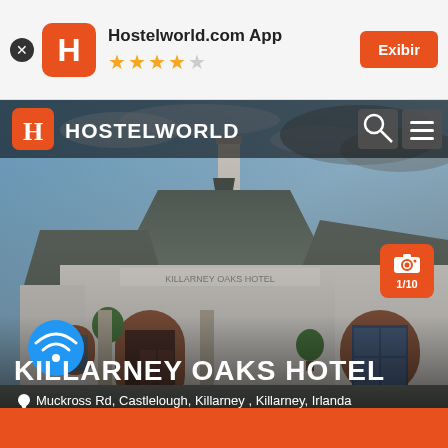[Figure (screenshot): Hostelworld.com App banner with orange H logo, 4-star rating, and Exibir button]
[Figure (photo): Hostelworld website screenshot showing Killarney Oaks Hotel exterior photo with navigation bar, hotel name overlay, wifi icon, address, and photo counter 1/10]